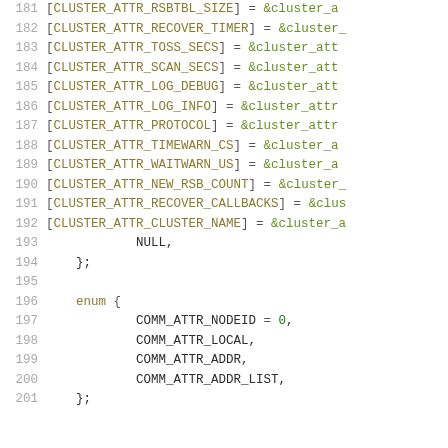181  [CLUSTER_ATTR_RSBTBL_SIZE] = &cluster_a...
182  [CLUSTER_ATTR_RECOVER_TIMER] = &cluster_...
183  [CLUSTER_ATTR_TOSS_SECS] = &cluster_att...
184  [CLUSTER_ATTR_SCAN_SECS] = &cluster_att...
185  [CLUSTER_ATTR_LOG_DEBUG] = &cluster_att...
186  [CLUSTER_ATTR_LOG_INFO] = &cluster_attr...
187  [CLUSTER_ATTR_PROTOCOL] = &cluster_attr...
188  [CLUSTER_ATTR_TIMEWARN_CS] = &cluster_a...
189  [CLUSTER_ATTR_WAITWARN_US] = &cluster_a...
190  [CLUSTER_ATTR_NEW_RSB_COUNT] = &cluster_...
191  [CLUSTER_ATTR_RECOVER_CALLBACKS] = &clus...
192  [CLUSTER_ATTR_CLUSTER_NAME] = &cluster_a...
193  NULL,
194  };
195
196  enum {
197  COMM_ATTR_NODEID = 0,
198  COMM_ATTR_LOCAL,
199  COMM_ATTR_ADDR,
200  COMM_ATTR_ADDR_LIST,
201  };